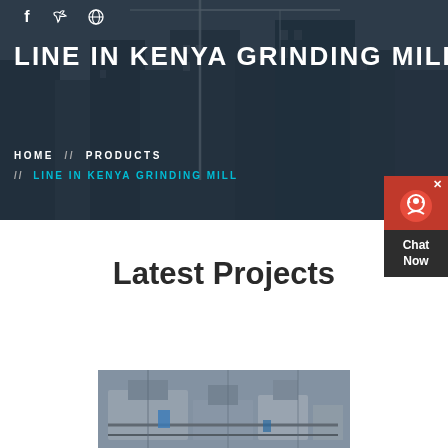[Figure (photo): Hero banner with dark-overlaid construction site / urban skyline background with crane and buildings]
LINE IN KENYA GRINDING MILL
HOME // PRODUCTS // LINE IN KENYA GRINDING MILL
[Figure (infographic): Red and dark chat widget with headphone icon, close X, and 'Chat Now' label]
Latest Projects
[Figure (photo): Industrial grinding mill machinery in a factory/plant interior]